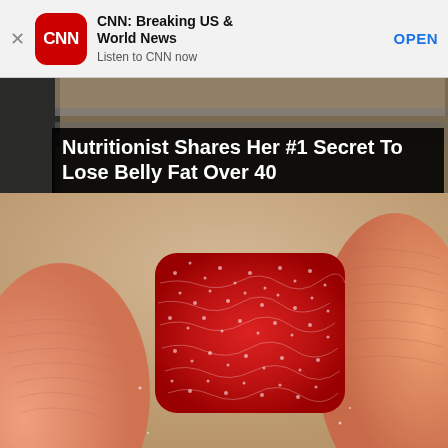[Figure (screenshot): CNN app banner ad with CNN logo, title 'CNN: Breaking US & World News', subtitle 'Listen to CNN now', and OPEN button]
[Figure (photo): Close-up macro photo of a small red sparkly candy or supplement held between two fingers]
Nutritionist Shares Her #1 Secret To Lose Belly Fat Over 40